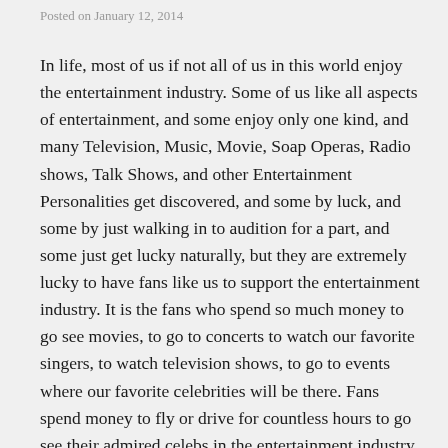Posted on January 12, 2014
In life, most of us if not all of us in this world enjoy the entertainment industry. Some of us like all aspects of entertainment, and some enjoy only one kind, and many Television, Music, Movie, Soap Operas, Radio shows, Talk Shows, and other Entertainment Personalities get discovered, and some by luck, and some by just walking in to audition for a part, and some just get lucky naturally, but they are extremely lucky to have fans like us to support the entertainment industry. It is the fans who spend so much money to go see movies, to go to concerts to watch our favorite singers, to watch television shows, to go to events where our favorite celebrities will be there. Fans spend money to fly or drive for countless hours to go see their admired celebs in the entertainment industry. Some fans buy merchandise, posters and other things to decorate their personal space with them all. This industry plays a